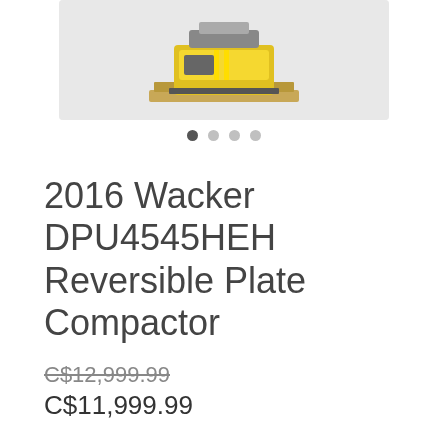[Figure (photo): Yellow Wacker plate compactor on a wooden pallet, photographed against a light grey/white background.]
2016 Wacker DPU4545HEH Reversible Plate Compactor
C$12,999.99 (strikethrough) C$11,999.99
Quantity
1
Out of Stock